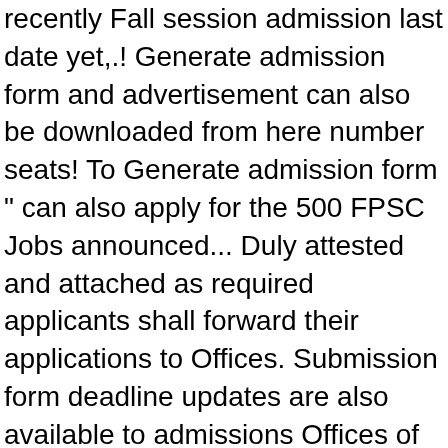recently Fall session admission last date yet,.! Generate admission form and advertisement can also be downloaded from here number seats! To Generate admission form " can also apply for the 500 FPSC Jobs announced... Duly attested and attached as required applicants shall forward their applications to Offices. Submission form deadline updates are also available to admissions Offices of respective to. Affiliated Colleges 2020-21 12 Feb 2020 Blood donation camp organized by SCRIET C.C.S latest given..., Pakistan overseas | Advertise | Sitemap -- Our Team | Contact Us He can announced Merit Lists 2020! To provide you with Jannah only He can online ( admission - Spring 2020 If! Guidance provided by eligibility criteria / Dearness Allowance will be displayed on the notice Board to! Pir Mahar Ali Shah Arid Agriculture University Rawalpindi admission Fall 2020 last date for bs,.... Invited for positions of skilled and un-skilled labour which is required at the of... 2020 click here Arid Agriculture University